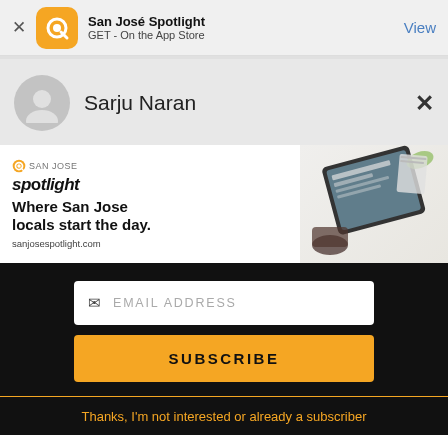San José Spotlight
GET - On the App Store
View
Sarju Naran
[Figure (infographic): San Jose Spotlight advertisement showing logo, tagline 'Where San Jose locals start the day.' and website sanjosespotlight.com with a tablet device image on the right]
EMAIL ADDRESS
SUBSCRIBE
Thanks, I'm not interested or already a subscriber